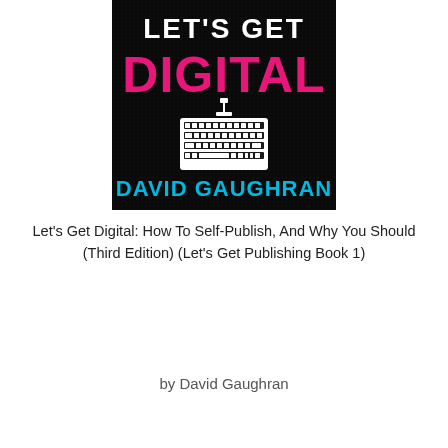[Figure (illustration): Book cover for 'Let's Get Digital' by David Gaughran. Black background with 'LET'S GET' in white bold text at top, 'DIGITAL' in large hot-pink bold text in the middle, a white keyboard icon below, and 'DAVID GAUGHRAN' in large cyan/blue bold text at the bottom.]
Let's Get Digital: How To Self-Publish, And Why You Should (Third Edition) (Let's Get Publishing Book 1)
by David Gaughran